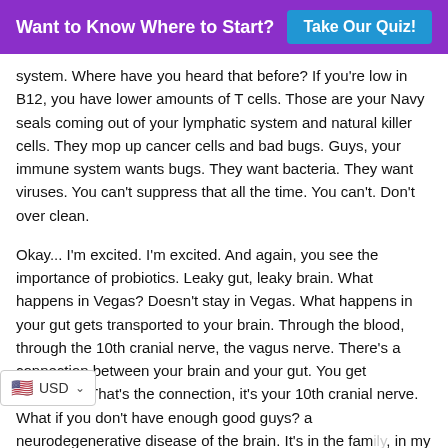Want to Know Where to Start? Take Our Quiz!
system. Where have you heard that before? If you're low in B12, you have lower amounts of T cells. Those are your Navy seals coming out of your lymphatic system and natural killer cells. They mop up cancer cells and bad bugs. Guys, your immune system wants bugs. They want bacteria. They want viruses. You can't suppress that all the time. You can't. Don't over clean.
Okay... I'm excited. I'm excited. And again, you see the importance of probiotics. Leaky gut, leaky brain. What happens in Vegas? Doesn't stay in Vegas. What happens in your gut gets transported to your brain. Through the blood, through the 10th cranial nerve, the vagus nerve. There's a connection between your brain and your gut. You get butterflies. That's the connection, it's your 10th cranial nerve. What if you don't have enough good guys? a neurodegenerative disease of the brain. It's in the family, in my opinion, of autoimmune. Your body